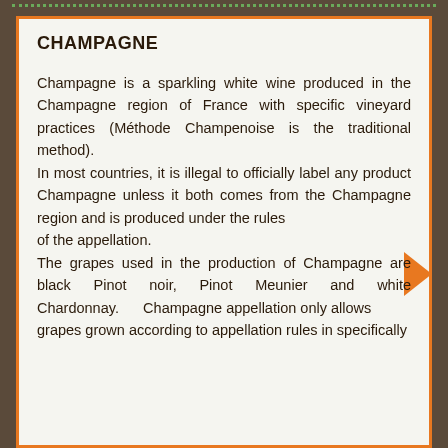CHAMPAGNE
Champagne is a sparkling white wine produced in the Champagne region of France with specific vineyard practices (Méthode Champenoise is the traditional method). In most countries, it is illegal to officially label any product Champagne unless it both comes from the Champagne region and is produced under the rules of the appellation. The grapes used in the production of Champagne are black Pinot noir, Pinot Meunier and white Chardonnay. Champagne appellation only allows grapes grown according to appellation rules in specifically